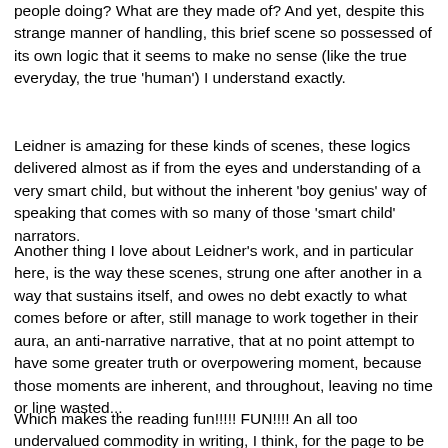people doing? What are they made of? And yet, despite this strange manner of handling, this brief scene so possessed of its own logic that it seems to make no sense (like the true everyday, the true 'human') I understand exactly.
Leidner is amazing for these kinds of scenes, these logics delivered almost as if from the eyes and understanding of a very smart child, but without the inherent 'boy genius' way of speaking that comes with so many of those 'smart child' narrators.
Another thing I love about Leidner's work, and in particular here, is the way these scenes, strung one after another in a way that sustains itself, and owes no debt exactly to what comes before or after, still manage to work together in their aura, an anti-narrative narrative, that at no point attempt to have some greater truth or overpowering moment, because those moments are inherent, and throughout, leaving no time or line wasted...
Which makes the reading fun!!!!! FUN!!!! An all too undervalued commodity in writing, I think, for the page to be